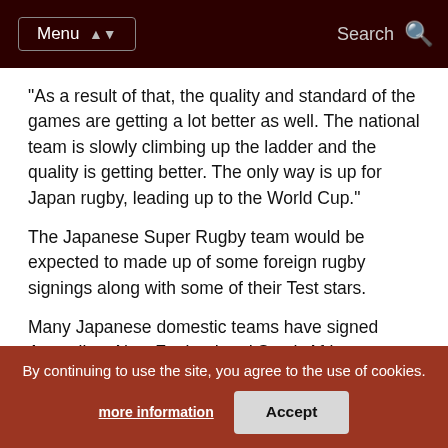Menu  Search
“As a result of that, the quality and standard of the games are getting a lot better as well. The national team is slowly climbing up the ladder and the quality is getting better. The only way is up for Japan rugby, leading up to the World Cup.”
The Japanese Super Rugby team would be expected to made up of some foreign rugby signings along with some of their Test stars.
Many Japanese domestic teams have signed Australian, New Zealand and South African players in recent years while a number of Japanese players have been signed by Australian and New Zealand Super Rugby teams.
Fumiaki Tanaka plays for the Highlanders in New Zealand and Shota Horie plays for the Rebels in Australia and Wing says that more experienced players playing regularly is invaluable for Japanese players.
“Those guys who have gone and played in New Zealand, or played
By continuing to use the site, you agree to the use of cookies.
more information  Accept